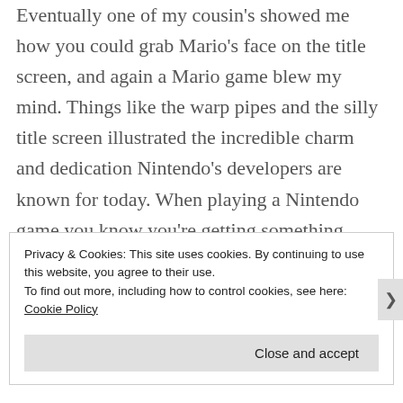Eventually one of my cousin's showed me how you could grab Mario's face on the title screen, and again a Mario game blew my mind. Things like the warp pipes and the silly title screen illustrated the incredible charm and dedication Nintendo's developers are known for today. When playing a Nintendo game you know you're getting something more than a product. You're getting an experience delicately crafted, down to every last detail.
Privacy & Cookies: This site uses cookies. By continuing to use this website, you agree to their use.
To find out more, including how to control cookies, see here: Cookie Policy
Close and accept